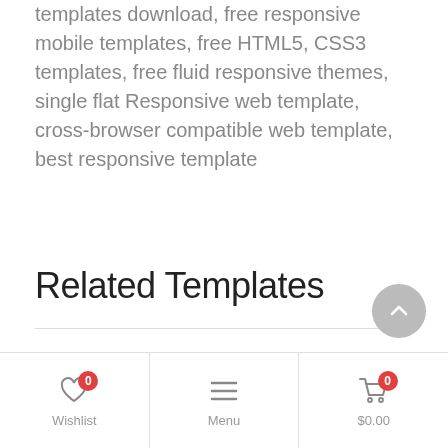templates download, free responsive mobile templates, free HTML5, CSS3 templates, free fluid responsive themes, single flat Responsive web template, cross-browser compatible web template, best responsive template
Related Templates
[Figure (other): White content area below divider for related templates thumbnails]
Wishlist 0 | Menu | $0.00 0